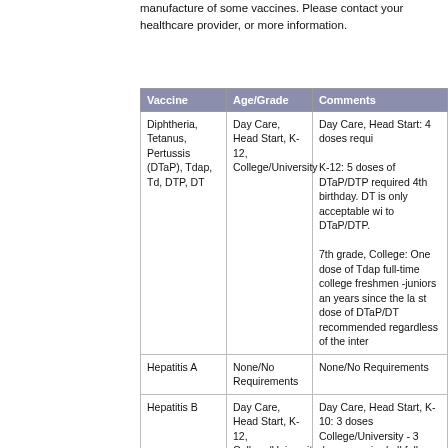manufacture of some vaccines. Please contact your healthcare provider, or more information.
| Vaccine | Age/Grade | Comments |
| --- | --- | --- |
| Diphtheria, Tetanus, Pertussis (DTaP), Tdap, Td, DTP, DT | Day Care, Head Start, K-12, College/University | Day Care, Head Start: 4 doses requi...

K-12: 5 doses of DTaP/DTP required... 4th birthday. DT is only acceptable wi... to DTaP/DTP.

7th grade, College: One dose of Tdap... full-time college freshmen -juniors an... years since the la st dose of DTaP/DT... recommended regardless of the inter... |
| Hepatitis A | None/No Requirements | None/No Requirements |
| Hepatitis B | Day Care, Head Start, K-12, College/University | Day Care, Head Start, K-10: 3 doses... College/University - 3 doses required... all full-time freshmen and sophmores... |
| Hib | Day Care, Head Start | Day Care, Head Start-  1 to 4 doses... entry. The number of doses is deter... begins. |
| Measles, Mumps, Rubella (MMR) | Day Care, Head Start, K-12, College/University | Day Care, Head Start: 1 dose of MM... preschool entry;

K-12:2 doses are required for kinderg... |